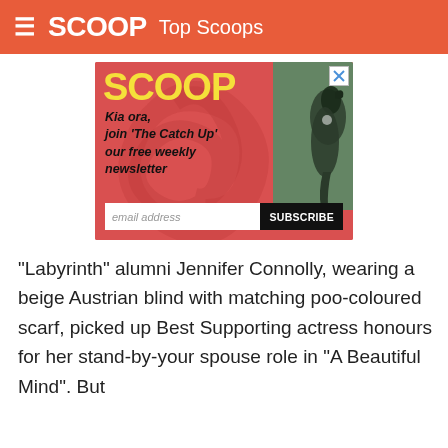SCOOP Top Scoops
[Figure (advertisement): Scoop newsletter advertisement banner with red background, yellow SCOOP logo, text 'Kia ora, join The Catch Up our free weekly newsletter', email input field, Subscribe button, and tui bird image on right side]
"Labyrinth" alumni Jennifer Connolly, wearing a beige Austrian blind with matching poo-coloured scarf, picked up Best Supporting actress honours for her stand-by-your spouse role in "A Beautiful Mind". But